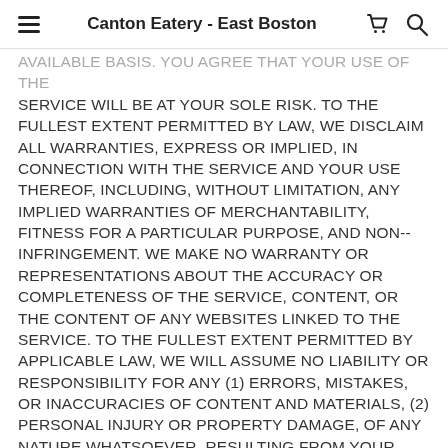Canton Eatery - East Boston
AVAILABLE BASIS. YOU AGREE THAT YOUR USE OF THE SERVICE WILL BE AT YOUR SOLE RISK. TO THE FULLEST EXTENT PERMITTED BY LAW, WE DISCLAIM ALL WARRANTIES, EXPRESS OR IMPLIED, IN CONNECTION WITH THE SERVICE AND YOUR USE THEREOF, INCLUDING, WITHOUT LIMITATION, ANY IMPLIED WARRANTIES OF MERCHANTABILITY, FITNESS FOR A PARTICULAR PURPOSE, AND NON--INFRINGEMENT. WE MAKE NO WARRANTY OR REPRESENTATIONS ABOUT THE ACCURACY OR COMPLETENESS OF THE SERVICE, CONTENT, OR THE CONTENT OF ANY WEBSITES LINKED TO THE SERVICE. TO THE FULLEST EXTENT PERMITTED BY APPLICABLE LAW, WE WILL ASSUME NO LIABILITY OR RESPONSIBILITY FOR ANY (1) ERRORS, MISTAKES, OR INACCURACIES OF CONTENT AND MATERIALS, (2) PERSONAL INJURY OR PROPERTY DAMAGE, OF ANY NATURE WHATSOEVER, RESULTING FROM YOUR